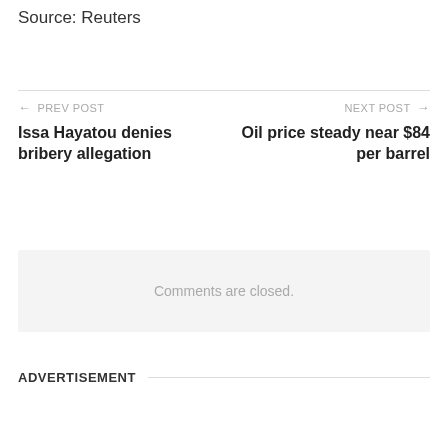Source: Reuters
← PREV POST
Issa Hayatou denies bribery allegation
NEXT POST →
Oil price steady near $84 per barrel
Comments are closed.
ADVERTISEMENT